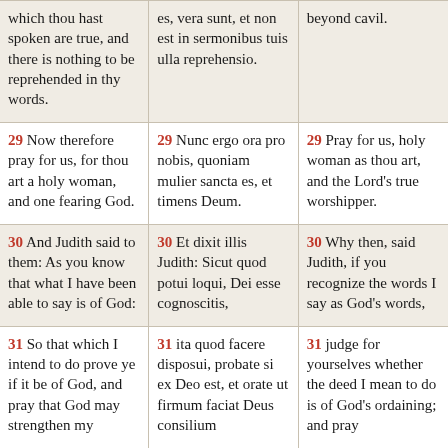which thou hast spoken are true, and there is nothing to be reprehended in thy words.
es, vera sunt, et non est in sermonibus tuis ulla reprehensio.
beyond cavil.
29 Now therefore pray for us, for thou art a holy woman, and one fearing God.
29 Nunc ergo ora pro nobis, quoniam mulier sancta es, et timens Deum.
29 Pray for us, holy woman as thou art, and the Lord's true worshipper.
30 And Judith said to them: As you know that what I have been able to say is of God:
30 Et dixit illis Judith: Sicut quod potui loqui, Dei esse cognoscitis,
30 Why then, said Judith, if you recognize the words I say as God's words,
31 So that which I intend to do prove ye if it be of God, and pray that God may strengthen my
31 ita quod facere disposui, probate si ex Deo est, et orate ut firmum faciat Deus consilium
31 judge for yourselves whether the deed I mean to do is of God's ordaining; and pray